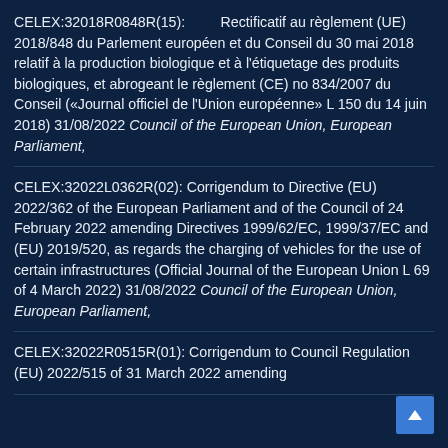CELEX:32018R0848R(15): Rectificatif au règlement (UE) 2018/848 du Parlement européen et du Conseil du 30 mai 2018 relatif à la production biologique et à l'étiquetage des produits biologiques, et abrogeant le règlement (CE) no 834/2007 du Conseil («Journal officiel de l'Union européenne» L 150 du 14 juin 2018) 31/08/2022 Council of the European Union, European Parliament,
CELEX:32022L0362R(02): Corrigendum to Directive (EU) 2022/362 of the European Parliament and of the Council of 24 February 2022 amending Directives 1999/62/EC, 1999/37/EC and (EU) 2019/520, as regards the charging of vehicles for the use of certain infrastructures (Official Journal of the European Union L 69 of 4 March 2022) 31/08/2022 Council of the European Union, European Parliament,
CELEX:32022R0515R(01): Corrigendum to Council Regulation (EU) 2022/515 of 31 March 2022 amending...